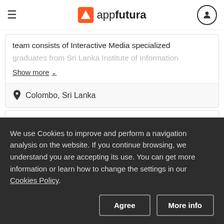appfutura
team consists of Interactive Media specialized graduates from Sri Lanka Institute of Information
Show more
Colombo, Sri Lanka
Variant Innovation
We use Cookies to improve and perform a navigation analysis on the website. If you continue browsing, we understand you are accepting its use. You can get more information or learn how to change the settings in our Cookies Policy.